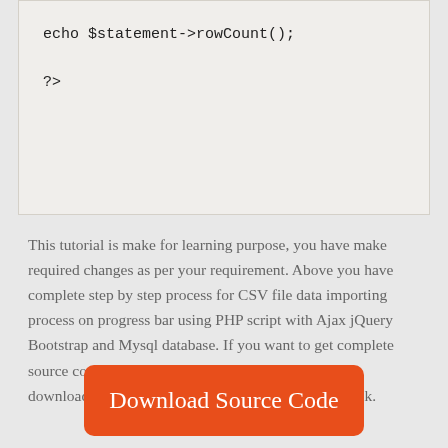echo $statement->rowCount();

?>
This tutorial is make for learning purpose, you have make required changes as per your requirement. Above you have complete step by step process for CSV file data importing process on progress bar using PHP script with Ajax jQuery Bootstrap and Mysql database. If you want to get complete source code of this PHP Ajax jQuery tutorial, you can download source code in zip file by click on below link.
Download Source Code